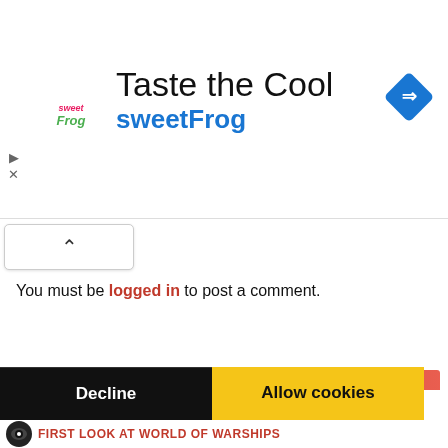[Figure (screenshot): SweetFrog advertisement banner with logo, 'Taste the Cool' title, 'sweetFrog' brand name in blue, navigation icon on right, and ad controls on left]
You must be logged in to post a comment.
We use cookies to help us provide, protect and improve your experience. By using this site, you consent to this use. We also show targeted advertisements by sharing your data with our partners so that the ads presented are relevant to you.
Privacy Policy
Decline
Allow cookies
FIRST LOOK AT WORLD OF WARSHIPS